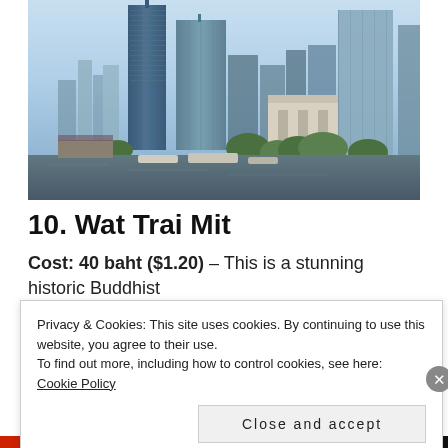[Figure (photo): Bangkok cityscape with tall skyscrapers and glass towers along the Chao Phraya river, with boats on the water and green trees in the foreground]
10. Wat Trai Mit
Cost: 40 baht ($1.20) – This is a stunning historic Buddhist
Privacy & Cookies: This site uses cookies. By continuing to use this website, you agree to their use. To find out more, including how to control cookies, see here: Cookie Policy
Close and accept